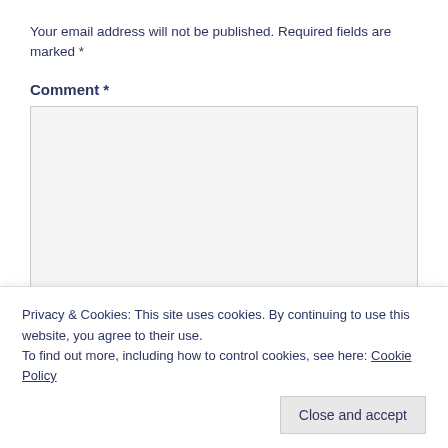Your email address will not be published. Required fields are marked *
Comment *
[Figure (other): Empty comment text area input box with light gray background and border]
Privacy & Cookies: This site uses cookies. By continuing to use this website, you agree to their use.
To find out more, including how to control cookies, see here: Cookie Policy
Close and accept